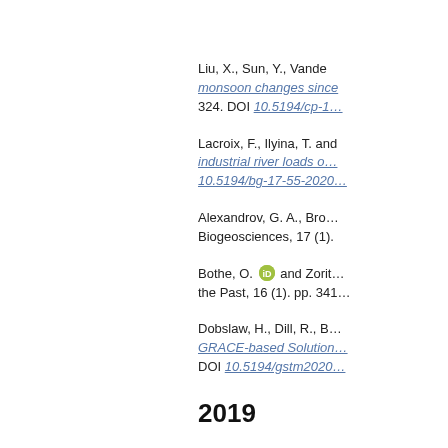Liu, X., Sun, Y., Vande... monsoon changes since... 324. DOI 10.5194/cp-1...
Lacroix, F., Ilyina, T. an... industrial river loads o... 10.5194/bg-17-55-2020...
Alexandrov, G. A., Bro... Biogeosciences, 17 (1).
Bothe, O. [ORCID] and Zorit... the Past, 16 (1). pp. 341...
Dobslaw, H., Dill, R., B... GRACE-based Solution... DOI 10.5194/gstm2020...
2019
Sidorenko, D., Goessli... S., Lohmann, G., Losch... Wakerle, G., Yang, H...